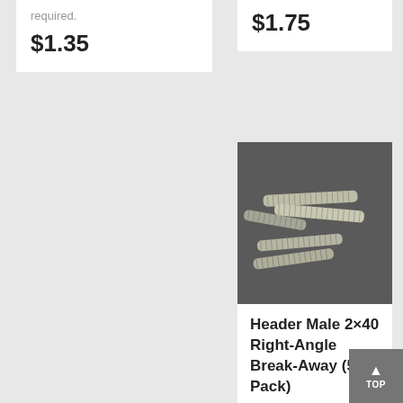required.
$1.35
$1.75
[Figure (photo): Photo of metal spring header male 2x40 right-angle break-away components on dark background]
Header Male 2×40 Right-Angle Break-Away (5-Pack)
Tin plated headers that can be snapped to the length required.
$2.05